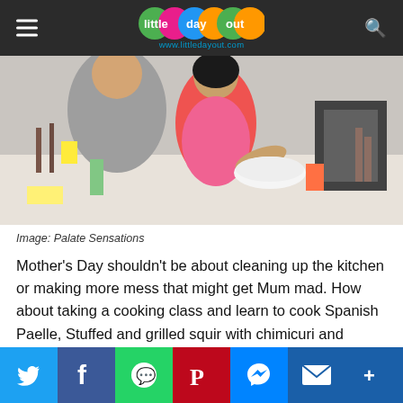little day out — www.littledayout.com
[Figure (photo): A young girl in a red and white polka dot apron smiling and cooking in a kitchen with an adult (parent) beside her. Kitchen utensils and equipment visible in the background.]
Image: Palate Sensations
Mother's Day shouldn't be about cleaning up the kitchen or making more mess that might get Mum mad. How about taking a cooking class and learn to cook Spanish Paelle, Stuffed and grilled squir with chimicuri and churros! You can even bring your own wine without corkage fees.
leave a kid-friendly experience with dear mum and you wont need to worry about cleaning up later.